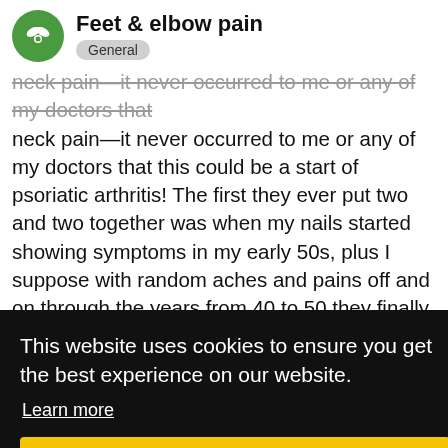Feet & elbow pain — General
neck pain—it never occurred to me or any of my doctors that this could be a start of psoriatic arthritis! The first they ever put two and two together was when my nails started showing symptoms in my early 50s, plus I suppose with random aches and pains off and on through the years from 40 to 50 they finally decided it was time to make a diagnosis. 🤔 By the time I was 60, everything came to a head and I was beside myself with inflammation!!! Thank goodness for Enbrel!
This website uses cookies to ensure you get the best experience on our website.
Learn more
Got it!
Folklore who prednisone, too, to where I ... that for almost 30 years after my 30s. As